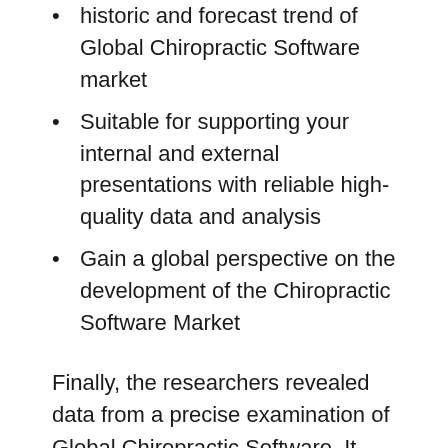historic and forecast trend of Global Chiropractic Software market
Suitable for supporting your internal and external presentations with reliable high-quality data and analysis
Gain a global perspective on the development of the Chiropractic Software Market
Finally, the researchers revealed data from a precise examination of Global Chiropractic Software. It also assesses the long-term trends and platforms that enable market expansion. The analysis report also assesses the scope of the conflict. The market has been thoroughly investigated using SWOT analysis and Porter’s 5 scanning techniques. It also aids in the management of business risks and challenges. It